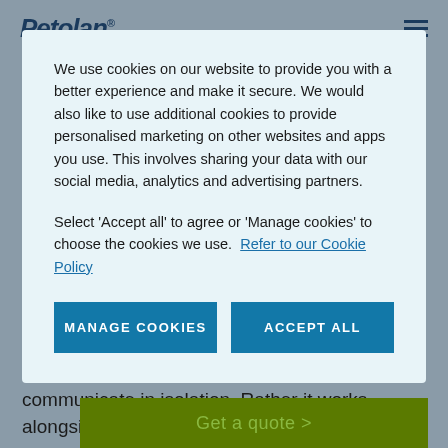Petolan®
We use cookies on our website to provide you with a better experience and make it secure. We would also like to use additional cookies to provide personalised marketing on other websites and apps you use. This involves sharing your data with our social media, analytics and advertising partners.
Select 'Accept all' to agree or 'Manage cookies' to choose the cookies we use. Refer to our Cookie Policy
MANAGE COOKIES
ACCEPT ALL
Tail language
The complex language of tail wagging does not communicate in isolation. Rather it works alongside the
Get a quote >